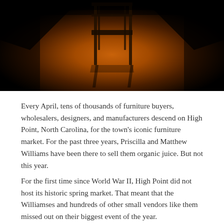[Figure (photo): A dramatic, dark amber/orange-lit photograph of what appears to be a wooden chair or furniture piece casting a shadow on a stage or floor, illuminated by a spotlight against a black background.]
Every April, tens of thousands of furniture buyers, wholesalers, designers, and manufacturers descend on High Point, North Carolina, for the town's iconic furniture market. For the past three years, Priscilla and Matthew Williams have been there to sell them organic juice. But not this year.
For the first time since World War II, High Point did not host its historic spring market. That meant that the Williamses and hundreds of other small vendors like them missed out on their biggest event of the year.